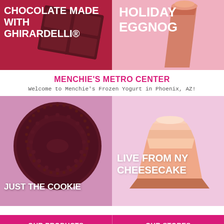[Figure (photo): Top left: chocolate made with Ghirardelli product image on dark red background]
CHOCOLATE MADE WITH GHIRARDELLI®
[Figure (photo): Top right: Holiday Eggnog frozen yogurt in cup on pink background]
HOLIDAY EGGNOG
MENCHIE'S METRO CENTER
Welcome to Menchie's Frozen Yogurt in Phoenix, AZ!
[Figure (photo): Bottom left: Oreo-style cookie on pink/mauve background with text JUST THE COOKIE]
JUST THE COOKIE
[Figure (photo): Bottom right: slice of cheesecake on pink background with text LIVE FROM NY CHEESECAKE]
LIVE FROM NY CHEESECAKE
OUR PRODUCTS | OUR STORES